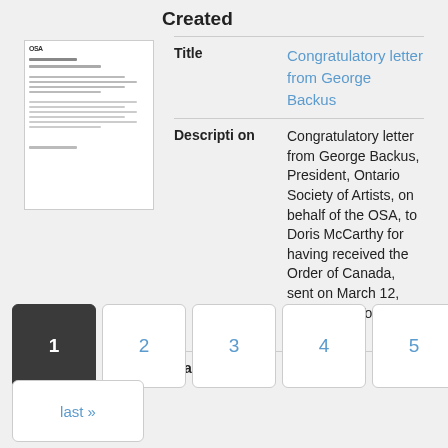Created
[Figure (photo): Thumbnail image of a letter document]
| Field | Value |
| --- | --- |
| Title | Congratulatory letter from George Backus |
| Description | Congratulatory letter from George Backus, President, Ontario Society of Artists, on behalf of the OSA, to Doris McCarthy for having received the Order of Canada, sent on March 12, 1987, from Toronto, ON. |
| Date Created | 1987 |
1
2
3
4
5
next ›
last »